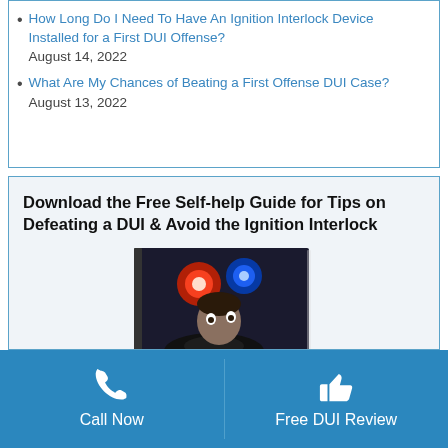How Long Do I Need To Have An Ignition Interlock Device Installed for a First DUI Offense? August 14, 2022
What Are My Chances of Beating a First Offense DUI Case? August 13, 2022
Download the Free Self-help Guide for Tips on Defeating a DUI & Avoid the Ignition Interlock
[Figure (photo): Book cover showing a man in a car looking up with alarm at police lights reflected in the window]
Call Now | Free DUI Review